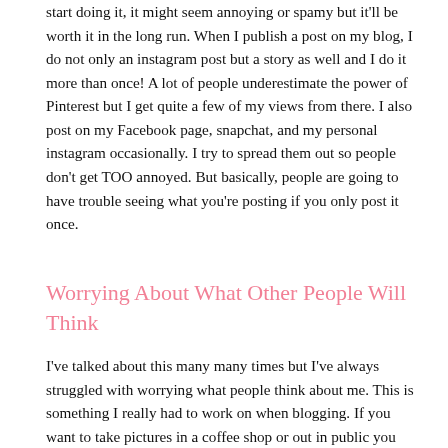start doing it, it might seem annoying or spamy but it'll be worth it in the long run. When I publish a post on my blog, I do not only an instagram post but a story as well and I do it more than once! A lot of people underestimate the power of Pinterest but I get quite a few of my views from there. I also post on my Facebook page, snapchat, and my personal instagram occasionally. I try to spread them out so people don't get TOO annoyed. But basically, people are going to have trouble seeing what you're posting if you only post it once.
Worrying About What Other People Will Think
I've talked about this many many times but I've always struggled with worrying what people think about me. This is something I really had to work on when blogging. If you want to take pictures in a coffee shop or out in public you cant be concerned with people staring at you